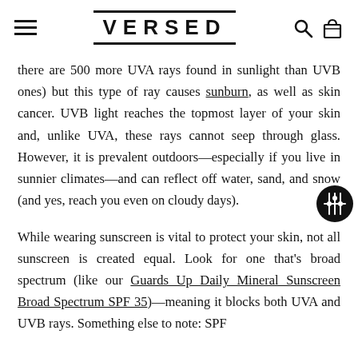VERSED
there are 500 more UVA rays found in sunlight than UVB ones) but this type of ray causes sunburn, as well as skin cancer. UVB light reaches the topmost layer of your skin and, unlike UVA, these rays cannot seep through glass. However, it is prevalent outdoors—especially if you live in sunnier climates—and can reflect off water, sand, and snow (and yes, reach you even on cloudy days).
While wearing sunscreen is vital to protect your skin, not all sunscreen is created equal. Look for one that's broad spectrum (like our Guards Up Daily Mineral Sunscreen Broad Spectrum SPF 35)—meaning it blocks both UVA and UVB rays. Something else to note: SPF